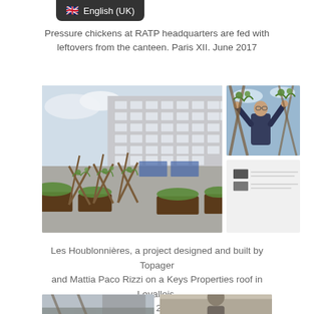🇬🇧 English (UK)
Pressure chickens at RATP headquarters are fed with leftovers from the canteen. Paris XII. June 2017
[Figure (photo): Rooftop garden with wooden trellis structures and raised planter beds on a rooftop, with a large building in the background. Paris.]
[Figure (photo): Person reaching up among climbing plants on a trellis structure outdoors.]
[Figure (other): Small thumbnail images with text captions below main photos.]
Les Houblonnières, a project designed and built by Topager and Mattia Paco Rizzi on a Keys Properties roof in Levallois. July 2017
[Figure (photo): Bottom strip: two partial photos of urban/architectural scenes.]